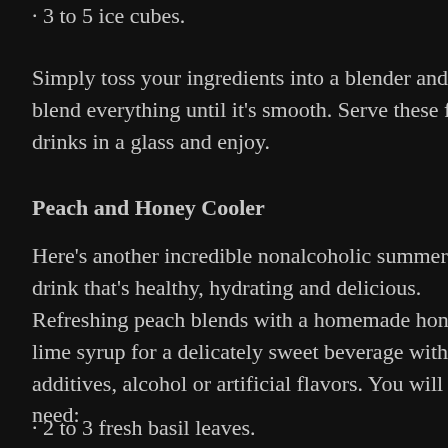· 3 to 5 ice cubes.
Simply toss your ingredients into a blender and blend everything until it's smooth. Serve these fun drinks in a glass and enjoy.
Peach and Honey Cooler
Here's another incredible nonalcoholic summer drink that's healthy, hydrating and delicious. Refreshing peach blends with a homemade honey-lime syrup for a delicately sweet beverage without additives, alcohol or artificial flavors. You will need:
· 2 to 3 fresh basil leaves.